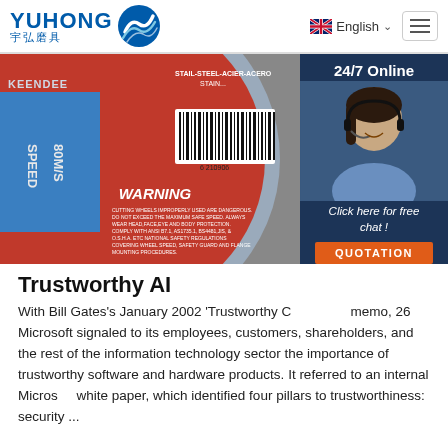YUHONG 宇弘磨具 — English
[Figure (photo): Close-up of a red and blue KEENDEE cutting wheel disc showing 'SPEED 80M/S' text, WARNING label with safety text, a barcode, and 'STAIL-STEEL-ACIER-ACERO' text. A 24/7 online chat widget with a female customer service agent is overlaid on the right side, along with 'Click here for free chat!' and a QUOTATION button.]
Trustworthy AI
With Bill Gates's January 2002 'Trustworthy Computing' memo, 26 Microsoft signaled to its employees, customers, shareholders, and the rest of the information technology sector the importance of trustworthy software and hardware products. It referred to an internal Microsoft white paper, which identified four pillars to trustworthiness: security ...